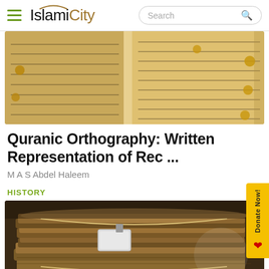IslamiCity
[Figure (photo): Open Quran manuscript showing Arabic text with golden illumination markers on aged parchment pages]
Quranic Orthography: Written Representation of Rec ...
M A S Abdel Haleem
HISTORY
[Figure (photo): Stack of aged, worn manuscripts or books tied with strings, showing deteriorated brown leather covers]